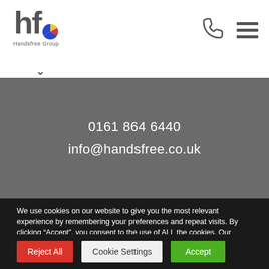Handsfree Group
0161 864 6440
info@handsfree.co.uk
We use cookies on our website to give you the most relevant experience by remembering your preferences and repeat visits. By clicking “Accept”, you consent to the use of ALL the cookies. Our Cookie Policy
Do not sell my personal information.